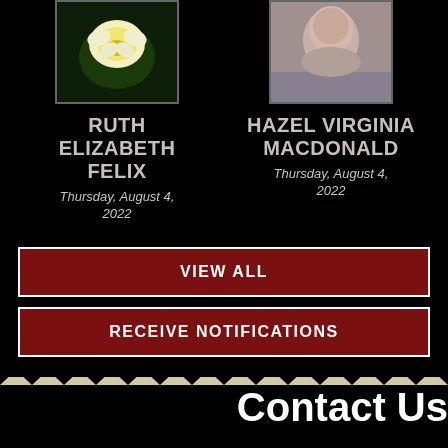[Figure (photo): Photo of a white daffodil flower against a dark background]
RUTH ELIZABETH FELIX
Thursday, August 4, 2022
[Figure (photo): Photo of an elderly woman smiling]
HAZEL VIRGINIA MACDONALD
Thursday, August 4, 2022
VIEW ALL
RECEIVE NOTIFICATIONS
Contact Us